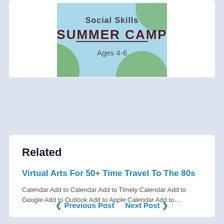[Figure (illustration): Social Skills Summer Camp flyer image with text 'Social Skills SUMMER CAMP Ages 4-6' with blue and green circular decorations on a light blue background]
Related
Virtual Arts For 50+ Time Travel To The 80s
Calendar Add to Calendar Add to Timely Calendar Add to Google Add to Outlook Add to Apple Calendar Add to…
❮ Previous Post   Next Post ❯